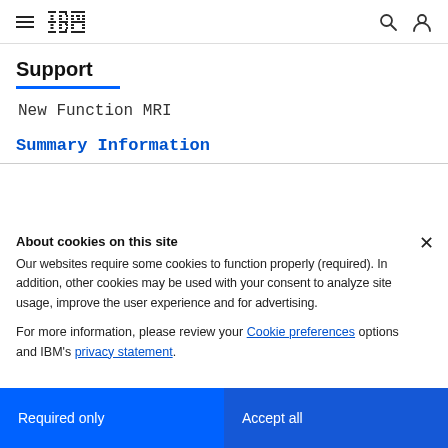IBM Support
Support
New Function MRI
Summary Information
About cookies on this site
Our websites require some cookies to function properly (required). In addition, other cookies may be used with your consent to analyze site usage, improve the user experience and for advertising.

For more information, please review your Cookie preferences options and IBM's privacy statement.
Required only
Accept all